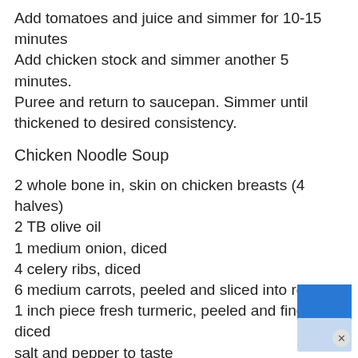Add tomatoes and juice and simmer for 10-15 minutes
Add chicken stock and simmer another 5 minutes.
Puree and return to saucepan. Simmer until thickened to desired consistency.
Chicken Noodle Soup
2 whole bone in, skin on chicken breasts (4 halves)
2 TB olive oil
1 medium onion, diced
4 celery ribs, diced
6 medium carrots, peeled and sliced into rounds
1 inch piece fresh turmeric, peeled and finely diced
salt and pepper to taste
8 C chicken stock
Noodles – cooked according to package